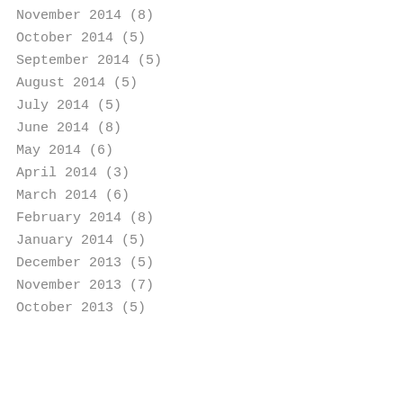November 2014 (8)
October 2014 (5)
September 2014 (5)
August 2014 (5)
July 2014 (5)
June 2014 (8)
May 2014 (6)
April 2014 (3)
March 2014 (6)
February 2014 (8)
January 2014 (5)
December 2013 (5)
November 2013 (7)
October 2013 (5)